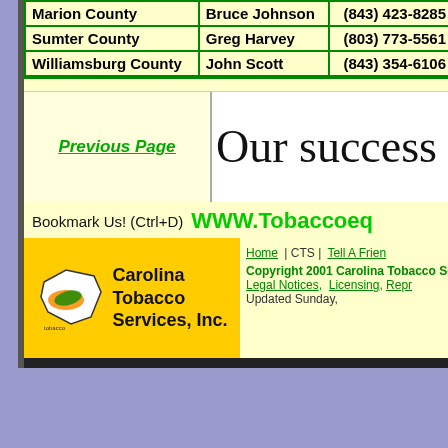| County | Contact | Phone |
| --- | --- | --- |
| Marion County | Bruce Johnson | (843) 423-8285 |
| Sumter County | Greg Harvey | (803) 773-5561 |
| Williamsburg County | John Scott | (843) 354-6106 |
Previous Page
Our success depe
Bookmark Us! (Ctrl+D)
WWW.Tobaccoeq
[Figure (logo): Carolina Tobacco Services, Inc. logo with state map]
Home | CTS | Tell A Frien
Copyright 2001 Carolina Tobacco Ser
Legal Notices,  Licensing,  Repr
Updated Sunday,